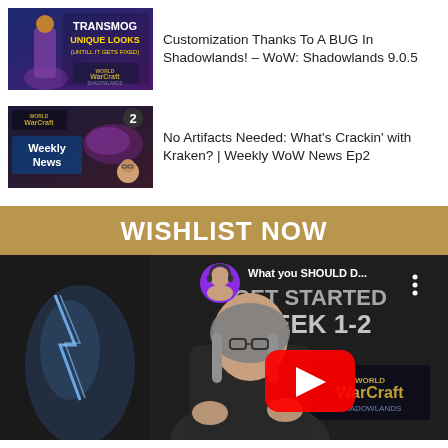[Figure (screenshot): Video thumbnail for Transmog Unique Looks (Until It Gets Fixed) – World of Warcraft Shadowlands]
Customization Thanks To A BUG In Shadowlands! – WoW: Shadowlands 9.0.5
[Figure (screenshot): Video thumbnail for No Artifacts Needed: What's Crackin' with Kraken? | Weekly WoW News Ep2 – showing WoW Shadowlands Weekly News with dragon]
No Artifacts Needed: What's Crackin' with Kraken? | Weekly WoW News Ep2
[Figure (screenshot): Wishlist Now banner with gold/tan background and white bold text]
[Figure (screenshot): YouTube video embed showing 'What you SHOULD D...' with a woman streamer in foreground, WoW Shadowlands GET STARTED WEEK 1-2 background, YouTube play button overlay]